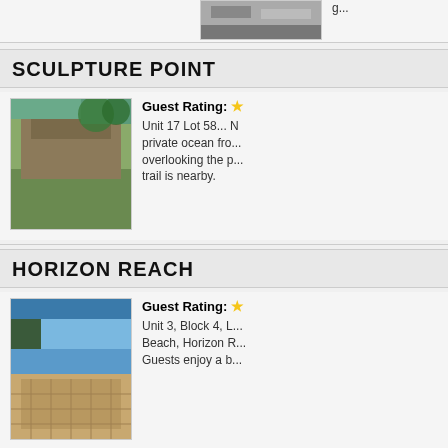[Figure (photo): Top partial image of a beach/outdoor scene, cropped]
SCULPTURE POINT
[Figure (photo): Photo of a large house/building with green lawn and trees]
Guest Rating: ★
Unit 17 Lot 58... private ocean fro... overlooking the p... trail is nearby.
HORIZON REACH
[Figure (photo): Photo of ocean view and rooftop/deck]
Guest Rating: ★
Unit 3, Block 4, L... Beach, Horizon R... Guests enjoy a b...
KYUKA
[Figure (photo): Photo of a modern dark-sided house]
Guest Rating: ★
Kyuka Unit 36A... spacious and rela... design influence... stretching from a...